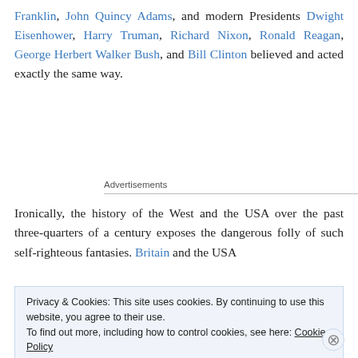Franklin, John Quincy Adams, and modern Presidents Dwight Eisenhower, Harry Truman, Richard Nixon, Ronald Reagan, George Herbert Walker Bush, and Bill Clinton believed and acted exactly the same way.
Advertisements
Ironically, the history of the West and the USA over the past three-quarters of a century exposes the dangerous folly of such self-righteous fantasies. Britain and the USA
Privacy & Cookies: This site uses cookies. By continuing to use this website, you agree to their use. To find out more, including how to control cookies, see here: Cookie Policy